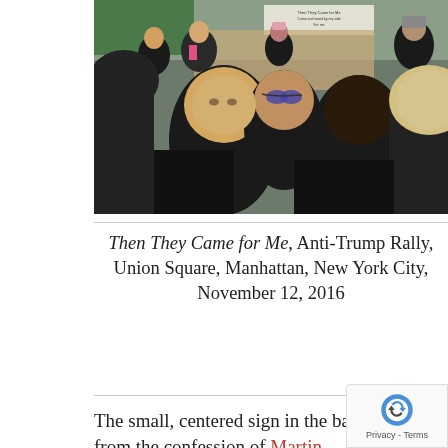[Figure (photo): A crowd of protesters, mostly young people, at an Anti-Trump Rally in Union Square, Manhattan. A small sign in the background quotes text. Several women are prominent in the foreground.]
Then They Came for Me, Anti-Trump Rally, Union Square, Manhattan, New York City, November 12, 2016
The small, centered sign in the background quotes the famous last lines from the confession of Martin